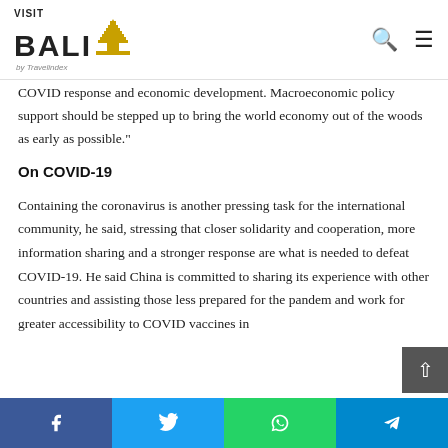VISIT BALI by Travelindex
COVID response and economic development. Macroeconomic policy support should be stepped up to bring the world economy out of the woods as early as possible."
On COVID-19
Containing the coronavirus is another pressing task for the international community, he said, stressing that closer solidarity and cooperation, more information sharing and a stronger response are what is needed to defeat COVID-19. He said China is committed to sharing its experience with other countries and assisting those less prepared for the pandemic and work for greater accessibility to COVID vaccines in
Facebook | Twitter | WhatsApp | Telegram